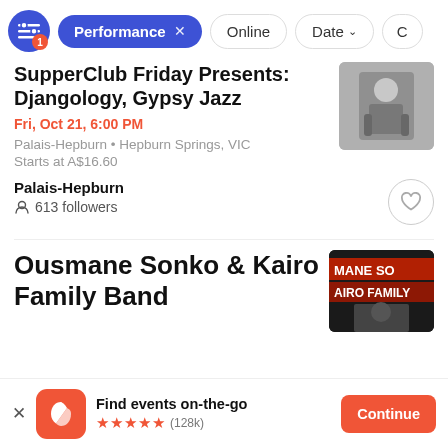Performance x  Online  Date  C
SupperClub Friday Presents: Djangology, Gypsy Jazz
Fri, Oct 21, 6:00 PM
Palais-Hepburn • Hepburn Springs, VIC
Starts at A$16.60
Palais-Hepburn
613 followers
Ousmane Sonko & Kairo Family Band
Find events on-the-go
★★★★★ (128k)  Continue